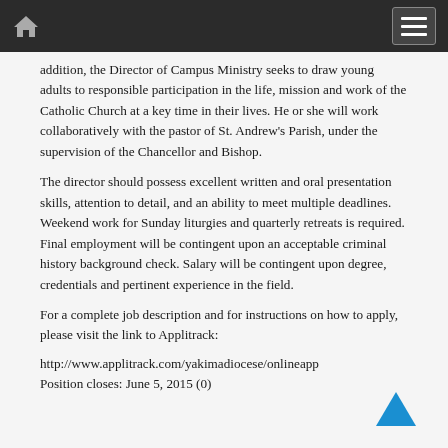addition, the Director of Campus Ministry seeks to draw young adults to responsible participation in the life, mission and work of the Catholic Church at a key time in their lives. He or she will work collaboratively with the pastor of St. Andrew's Parish, under the supervision of the Chancellor and Bishop.

The director should possess excellent written and oral presentation skills, attention to detail, and an ability to meet multiple deadlines. Weekend work for Sunday liturgies and quarterly retreats is required. Final employment will be contingent upon an acceptable criminal history background check. Salary will be contingent upon degree, credentials and pertinent experience in the field.
For a complete job description and for instructions on how to apply, please visit the link to Applitrack:

http://www.applitrack.com/yakimadiocese/onlineapp
Position closes: June 5, 2015 (0)